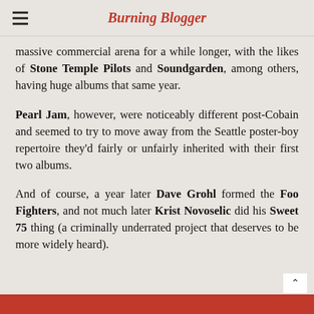Burning Blogger
massive commercial arena for a while longer, with the likes of Stone Temple Pilots and Soundgarden, among others, having huge albums that same year.
Pearl Jam, however, were noticeably different post-Cobain and seemed to try to move away from the Seattle poster-boy repertoire they’d fairly or unfairly inherited with their first two albums.
And of course, a year later Dave Grohl formed the Foo Fighters, and not much later Krist Novoselic did his Sweet 75 thing (a criminally underrated project that deserves to be more widely heard).